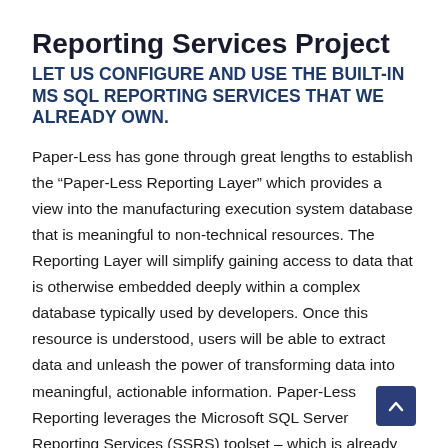Reporting Services Project
LET US CONFIGURE AND USE THE BUILT-IN MS SQL REPORTING SERVICES THAT WE ALREADY OWN.
Paper-Less has gone through great lengths to establish the “Paper-Less Reporting Layer” which provides a view into the manufacturing execution system database that is meaningful to non-technical resources. The Reporting Layer will simplify gaining access to data that is otherwise embedded deeply within a complex database typically used by developers. Once this resource is understood, users will be able to extract data and unleash the power of transforming data into meaningful, actionable information. Paper-Less Reporting leverages the Microsoft SQL Server Reporting Services (SSRS) toolset – which is already available on the Paper-Less Application Server to unleash its capabilities against the power of the Paper-